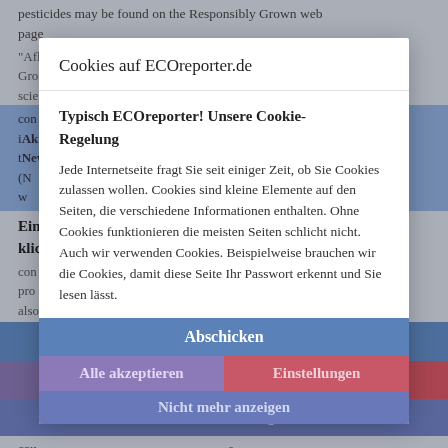pesticides may be found on the Responsibly Grown web page
"Aff... Gro... scie..."
Aktuell, seriös und kostenlos: Der ECOreporter-Newsletter. Seit 1999.
Einfach E-Mail-Adresse eintragen und auf "Abschicken" klicken - willkommen!
[Figure (screenshot): Cookie consent modal dialog on ECOreporter.de with title 'Cookies auf ECOreporter.de', body text explaining cookies, buttons: Abschicken, Alle akzeptieren, Einstellungen, Nicht mehr anzeigen]
Cookies auf ECOreporter.de
Typisch ECOreporter! Unsere Cookie-Regelung
Jede Internetseite fragt Sie seit einiger Zeit, ob Sie Cookies zulassen wollen. Cookies sind kleine Elemente auf den Seiten, die verschiedene Informationen enthalten. Ohne Cookies funktionieren die meisten Seiten schlicht nicht. Auch wir verwenden Cookies. Beispielweise brauchen wir die Cookies, damit diese Seite Ihr Passwort erkennt und Sie lesen lässt.
Abschicken
Alle akzeptieren
Einstellungen
Nicht mehr anzeigen
in the U.S., with very limited exceptions including for